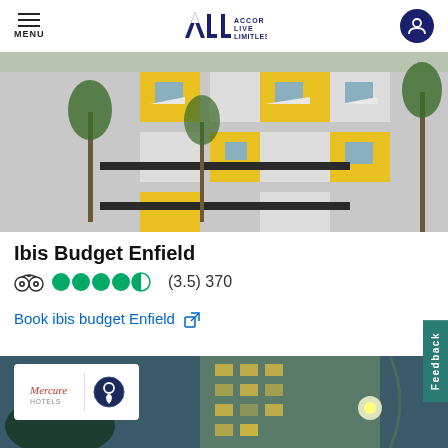MENU | ALL ACCOR LIVE LIMITLESS
[Figure (photo): Exterior of Ibis Budget Enfield hotel building with yellow and grey facade panels, white awnings, and palm trees in front]
Ibis Budget Enfield
(3.5) 370
Book ibis budget Enfield ↗
[Figure (photo): Exterior of Mercure hotel building at night, tall curved glass facade with lights, with Mercure logo badge overlay]
Feedback